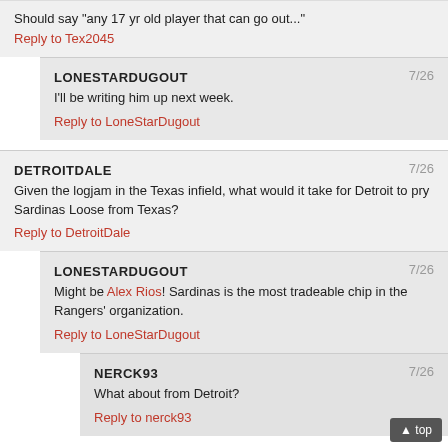Should say "any 17 yr old player that can go out..."
Reply to Tex2045
LONESTARDUGOUT  7/26
I'll be writing him up next week.
Reply to LoneStarDugout
DETROITDALE  7/26
Given the logjam in the Texas infield, what would it take for Detroit to pry Sardinas Loose from Texas?
Reply to DetroitDale
LONESTARDUGOUT  7/26
Might be Alex Rios! Sardinas is the most tradeable chip in the Rangers' organization.
Reply to LoneStarDugout
NERCK93  7/26
What about from Detroit?
Reply to nerck93